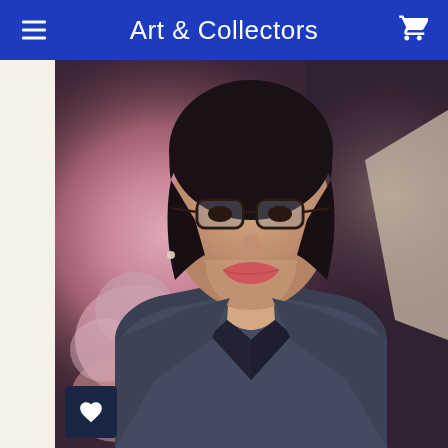Art & Collectors
[Figure (photo): Close-up portrait photo of a woman with dark hair and glasses, wearing a dark blazer over a black top, smiling with red lipstick. Background shows pink floral artwork. A heart/like button is visible in the bottom-left corner.]